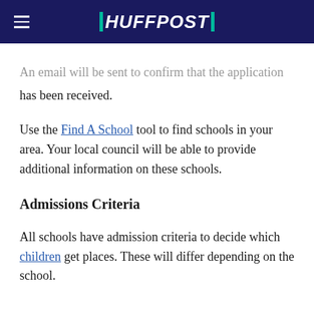HUFFPOST
An email will be sent to confirm that the application has been received.
Use the Find A School tool to find schools in your area. Your local council will be able to provide additional information on these schools.
Admissions Criteria
All schools have admission criteria to decide which children get places. These will differ depending on the school.